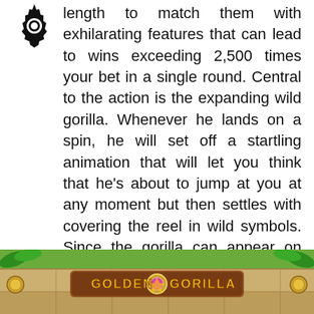length to match them with exhilarating features that can lead to wins exceeding 2,500 times your bet in a single round. Central to the action is the expanding wild gorilla. Whenever he lands on a spin, he will set off a startling animation that will let you think that he's about to jump at you at any moment but then settles with covering the reel in wild symbols. Since the gorilla can appear on reels one, three, and five only, you will need matching symbols on reels two and four to score a rewarding multi-line win. In any other case, he will help form smaller winning combinations.
[Figure (screenshot): Screenshot of the Golden Gorilla slot game interface showing the game title 'GOLDEN GORILLA' displayed on stone-textured reels with jungle/tropical foliage visible at the top.]